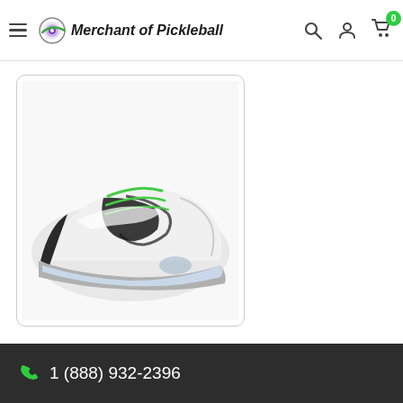Merchant of Pickleball - navigation header with hamburger menu, logo, search, account, and cart icons
[Figure (photo): ASICS Men's Gel-Resolution 8 Wide Width 2E tennis/pickleball shoe in White/Green Gecko colorway, showing white upper with black ASICS tiger stripes and green laces, displayed on white background inside a rounded-corner card]
Asics Men's Gel-Resolution 8 - Wide Width 2E - White/Green Gecko
$139.99
[Figure (logo): Premium Court Pickleball Series badge/shield logo with red flame graphic]
1 (888) 932-2396